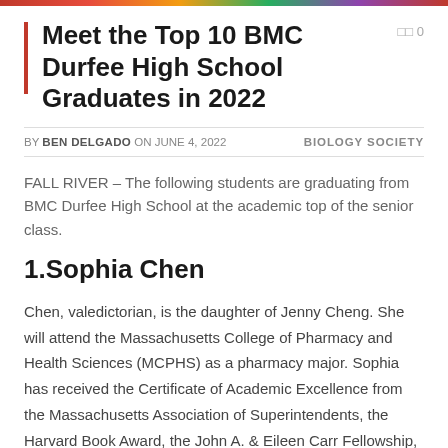[Figure (photo): Colorful top banner image strip with red, orange, green, purple tones]
Meet the Top 10 BMC Durfee High School Graduates in 2022
BY BEN DELGADO ON JUNE 4, 2022   BIOLOGY SOCIETY
FALL RIVER – The following students are graduating from BMC Durfee High School at the academic top of the senior class.
1.Sophia Chen
Chen, valedictorian, is the daughter of Jenny Cheng. She will attend the Massachusetts College of Pharmacy and Health Sciences (MCPHS) as a pharmacy major. Sophia has received the Certificate of Academic Excellence from the Massachusetts Association of Superintendents, the Harvard Book Award, the John A. & Eileen Carr Fellowship, the Joseph C. & Alene Trottier Dorron Fellowship, the Edith C. Walliston Fellowship, and the